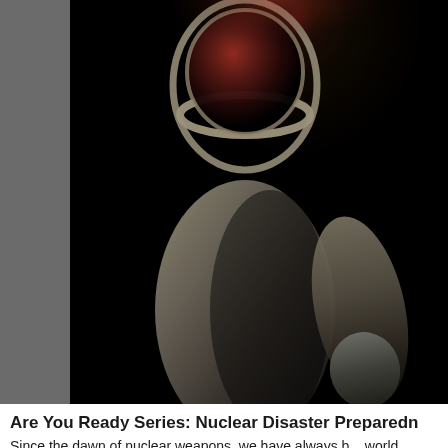[Figure (photo): A person wearing a white hazmat/NBC protective suit with a full-face gas mask or respirator, shown against a dark/black background. The figure appears to be photographed from the torso up. The visor of the mask shows a reddish tint.]
Are You Ready Series: Nuclear Disaster Preparedn...
Since the dawn of nuclear weapons, we have always b... world leader hastily pushing a nuke detonator. Howev...